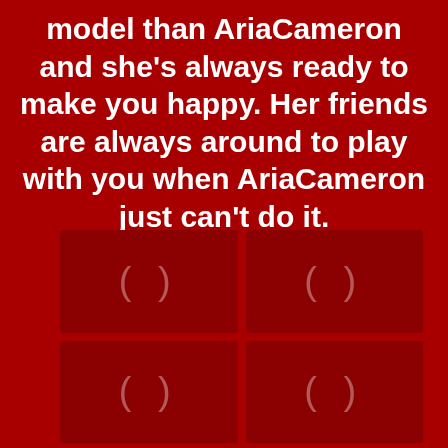model than AriaCameron and she's always ready to make you happy. Her friends are always around to play with you when AriaCameron just can't do it.
[Figure (other): A 2x2 grid of four dark red placeholder image boxes, each showing a loading spinner icon (parenthesis-like curved brackets) in semi-transparent white.]